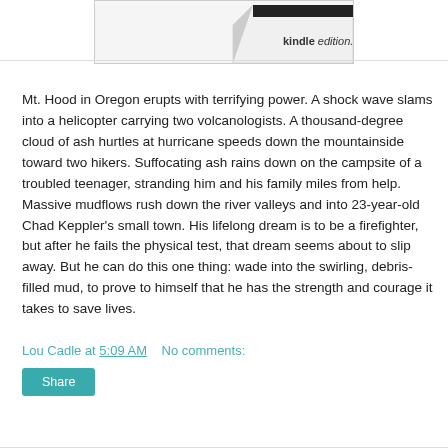[Figure (screenshot): Partial book cover image with kindle edition badge at top of page]
Mt. Hood in Oregon erupts with terrifying power. A shock wave slams into a helicopter carrying two volcanologists. A thousand-degree cloud of ash hurtles at hurricane speeds down the mountainside toward two hikers. Suffocating ash rains down on the campsite of a troubled teenager, stranding him and his family miles from help. Massive mudflows rush down the river valleys and into 23-year-old Chad Keppler's small town. His lifelong dream is to be a firefighter, but after he fails the physical test, that dream seems about to slip away. But he can do this one thing: wade into the swirling, debris-filled mud, to prove to himself that he has the strength and courage it takes to save lives.
Lou Cadle at 5:09 AM   No comments:
Share